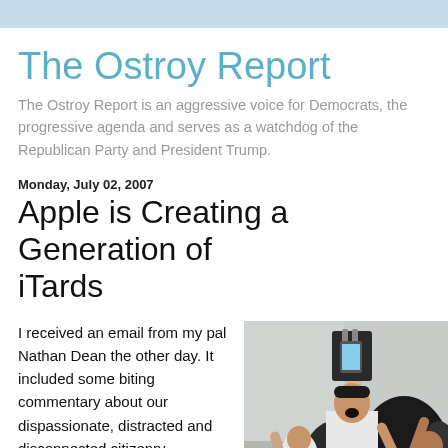The Ostroy Report
The Ostroy Report is an aggressive voice for Democrats, the progressive agenda and serves as a watchdog of the Republican Party and President Trump.
Monday, July 02, 2007
Apple is Creating a Generation of iTards
I received an email from my pal Nathan Dean the other day. It included some biting commentary about our dispassionate, distracted and disconnected citizenry--especially
[Figure (photo): A person celebrating outdoors, holding up a shopping bag with an iPhone image on it, surrounded by a crowd of cheering people.]